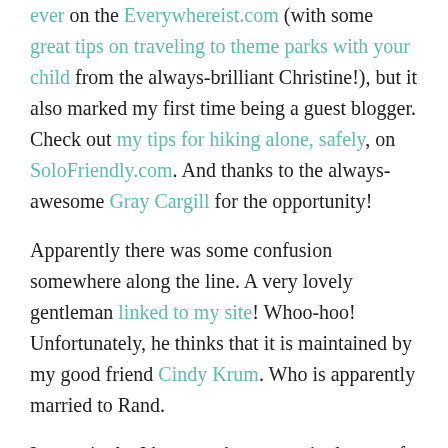ever on the Everywhereist.com (with some great tips on traveling to theme parks with your child from the always-brilliant Christine!), but it also marked my first time being a guest blogger. Check out my tips for hiking alone, safely, on SoloFriendly.com. And thanks to the always-awesome Gray Cargill for the opportunity!

Apparently there was some confusion somewhere along the line. A very lovely gentleman linked to my site! Whoo-hoo! Unfortunately, he thinks that it is maintained by my good friend Cindy Krum. Who is apparently married to Rand.

Interestingly, I have not been to a single one of the